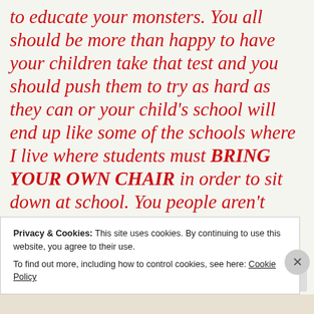to educate your monsters. You all should be more than happy to have your children take that test and you should push them to try as hard as they can or your child's school will end up like some of the schools where I live where students must BRING YOUR OWN CHAIR in order to sit down at school. You people aren't smart at all.
You can leave a response, or trackback from...
Privacy & Cookies: This site uses cookies. By continuing to use this website, you agree to their use.
To find out more, including how to control cookies, see here: Cookie Policy